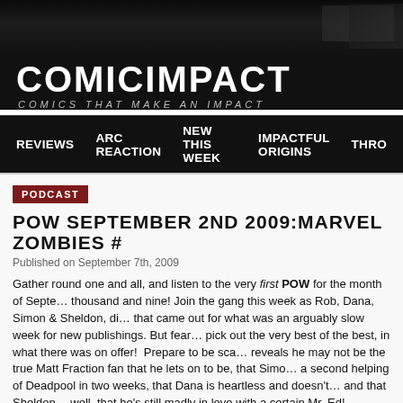[Figure (screenshot): Dark header image with comic-style imagery in background]
COMICIMPACT
COMICS THAT MAKE AN IMPACT
REVIEWS   ARC REACTION   NEW THIS WEEK   IMPACTFUL ORIGINS   THRO
PODCAST
POW SEPTEMBER 2ND 2009:MARVEL ZOMBIES #
Published on September 7th, 2009
Gather round one and all, and listen to the very first POW for the month of September, two thousand and nine! Join the gang this week as Rob, Dana, Simon & Sheldon, di... that came out for what was an arguably slow week for new publishings. But fear... pick out the very best of the best, in what there was on offer!  Prepare to be sca... reveals he may not be the true Matt Fraction fan that he lets on to be, that Simo... a second helping of Deadpool in two weeks, that Dana is heartless and doesn't... and that Sheldon… well, that he's still madly in love with a certain Mr. Ed!
Rob has the Pick of the Week this time round, and believe it or not, but he rathe... Marvel Zombies Return: Spider-Man. Also discussed, is Incognito #6, Greek Str... Out Toy Works #1, The Torch #1 (of 8), Deadpool #15, Ghost Riders: Heaven's...